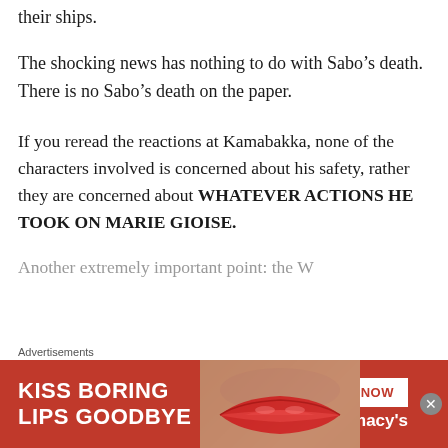their ships.
The shocking news has nothing to do with Sabo’s death. There is no Sabo’s death on the paper.
If you reread the reactions at Kamabakka, none of the characters involved is concerned about his safety, rather they are concerned about WHATEVER ACTIONS HE TOOK ON MARIE GIOISE.
Another extremely important point: the W…
Advertisements
[Figure (photo): Macy's advertisement banner: 'KISS BORING LIPS GOODBYE' with SHOP NOW button and Macy's logo, featuring a woman's face with red lipstick.]